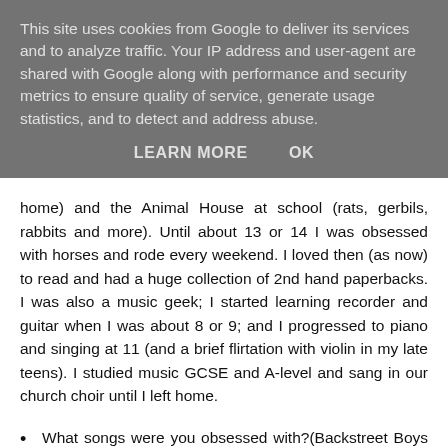This site uses cookies from Google to deliver its services and to analyze traffic. Your IP address and user-agent are shared with Google along with performance and security metrics to ensure quality of service, generate usage statistics, and to detect and address abuse.
LEARN MORE    OK
home) and the Animal House at school (rats, gerbils, rabbits and more). Until about 13 or 14 I was obsessed with horses and rode every weekend. I loved then (as now) to read and had a huge collection of 2nd hand paperbacks. I was also a music geek; I started learning recorder and guitar when I was about 8 or 9; and I progressed to piano and singing at 11 (and a brief flirtation with violin in my late teens). I studied music GCSE and A-level and sang in our church choir until I left home.
What songs were you obsessed with?(Backstreet Boys anyone?)